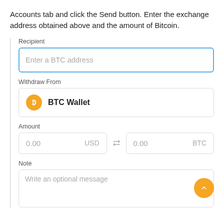Accounts tab and click the Send button. Enter the exchange address obtained above and the amount of Bitcoin.
[Figure (screenshot): Bitcoin wallet send form with fields: Recipient (Enter a BTC address input), Withdraw From (BTC Wallet), Amount (0.00 USD / 0.00 BTC with swap arrows), and Note (Write an optional message textarea). A yellow circular chevron-up FAB button appears at bottom right.]